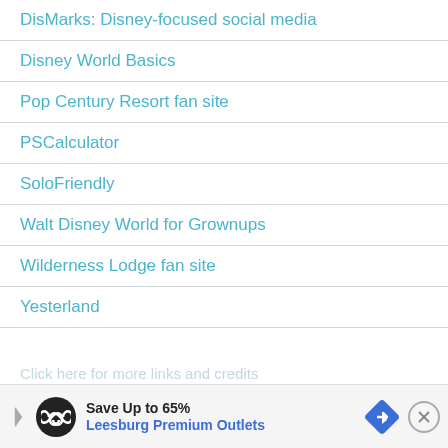DisMarks: Disney-focused social media
Disney World Basics
Pop Century Resort fan site
PSCalculator
SoloFriendly
Walt Disney World for Grownups
Wilderness Lodge fan site
Yesterland
Click here for more links and credits
[Figure (infographic): Advertisement banner: Save Up to 65% Leesburg Premium Outlets with logo and navigation arrow icon and close button]